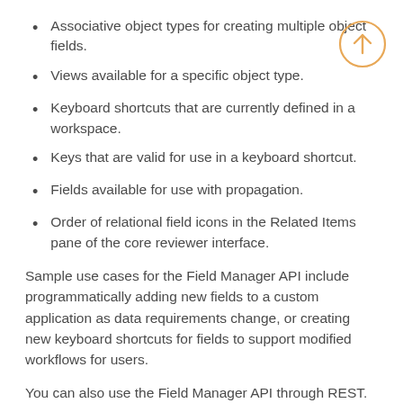Associative object types for creating multiple object fields.
Views available for a specific object type.
Keyboard shortcuts that are currently defined in a workspace.
Keys that are valid for use in a keyboard shortcut.
Fields available for use with propagation.
Order of relational field icons in the Related Items pane of the core reviewer interface.
Sample use cases for the Field Manager API include programmatically adding new fields to a custom application as data requirements change, or creating new keyboard shortcuts for fields to support modified workflows for users.
You can also use the Field Manager API through REST. For